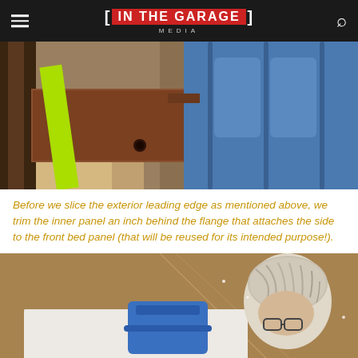[IN THE GARAGE] MEDIA
[Figure (photo): Close-up photo of a rusted metal panel with bright yellow-green (neon) tape/material applied to it, next to blue plastic panels on what appears to be a vehicle bed side panel restoration project.]
Before we slice the exterior leading edge as mentioned above, we trim the inner panel an inch behind the flange that attaches the side to the front bed panel (that will be reused for its intended purpose!).
[Figure (photo): Photo of a person with white/gray hair wearing glasses, bending over a white cloth-covered surface with a blue tool or part visible, appearing to work on automotive restoration. Background is brown/tan.]